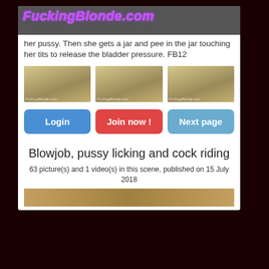[Figure (logo): FuckingBlonde.com logo in purple italic bold text]
her pussy. Then she gets a jar and pee in the jar touching her tits to release the bladder pressure. FB12
[Figure (photo): Three thumbnail images from a video scene]
Login
Join now !
Next page
Blowjob, pussy licking and cock riding
63 picture(s) and 1 video(s) in this scene, published on 15 July 2018